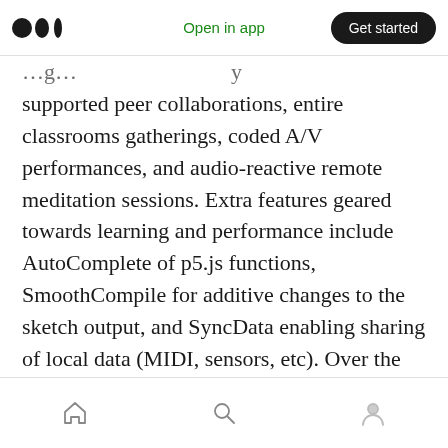Open in app | Get started
supported peer collaborations, entire classrooms gatherings, coded A/V performances, and audio-reactive remote meditation sessions. Extra features geared towards learning and performance include AutoComplete of p5.js functions, SmoothCompile for additive changes to the sketch output, and SyncData enabling sharing of local data (MIDI, sensors, etc). Over the next year, additional features to support remotely teaching code, P5LIVE Classroom, will be developed through an FHNW Lehrfonds grant.
Home | Search | Profile